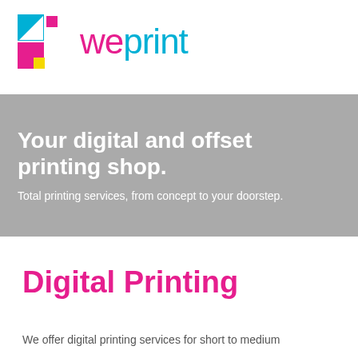[Figure (logo): WePrint logo with colorful geometric icon (cyan, magenta, yellow squares/shapes) and 'weprint' text in magenta and cyan]
Your digital and offset printing shop.
Total printing services, from concept to your doorstep.
Digital Printing
We offer digital printing services for short to medium